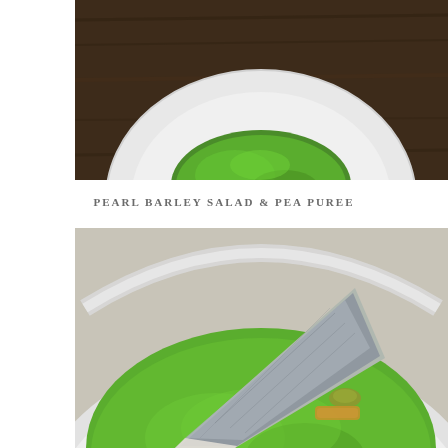[Figure (photo): Top-down view of a white plate on a dark wooden table, with a vibrant green pea puree spread across the plate, garnished with a small nut or crouton in the center.]
PEARL BARLEY SALAD & PEA PUREE
[Figure (photo): Close-up of a white bowl containing a fish fillet (with silver skin visible) resting on bright green pea puree, accompanied by what appears to be an olive or small vegetable and a piece of root vegetable or pasta.]